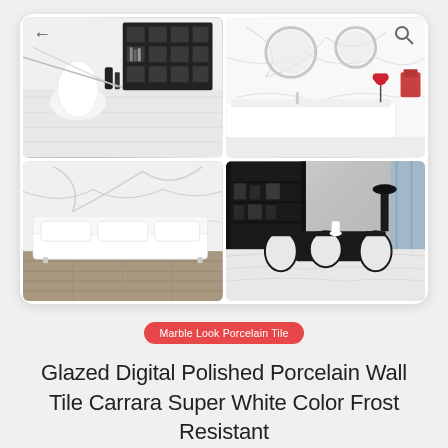[Figure (photo): A 2x2 grid of interior design photos showing marble-look porcelain tile in various settings: top-left shows a modern living room with white chair and black bookshelf, top-right shows a marble bathroom with round mirrors and white vanity, bottom-left shows a white sofa against marble wall tiles on wood floor, bottom-right shows an elegant dining room with marble floor and black ornate chairs. Navigation arrow icon visible top-left, search icon top-right.]
Marble Look Porcelain Tile
Glazed Digital Polished Porcelain Wall Tile Carrara Super White Color Frost Resistant